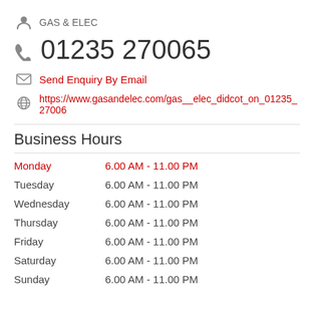GAS & ELEC
01235 270065
Send Enquiry By Email
https://www.gasandelec.com/gas__elec_didcot_on_01235_27006
Business Hours
| Day | Hours |
| --- | --- |
| Monday | 6.00 AM - 11.00 PM |
| Tuesday | 6.00 AM - 11.00 PM |
| Wednesday | 6.00 AM - 11.00 PM |
| Thursday | 6.00 AM - 11.00 PM |
| Friday | 6.00 AM - 11.00 PM |
| Saturday | 6.00 AM - 11.00 PM |
| Sunday | 6.00 AM - 11.00 PM |